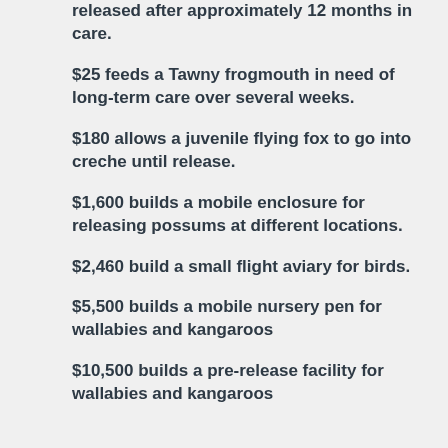released after approximately 12 months in care.
$25 feeds a Tawny frogmouth in need of long-term care over several weeks.
$180 allows a juvenile flying fox to go into creche until release.
$1,600 builds a mobile enclosure for releasing possums at different locations.
$2,460 build a small flight aviary for birds.
$5,500 builds a mobile nursery pen for wallabies and kangaroos
$10,500 builds a pre-release facility for wallabies and kangaroos